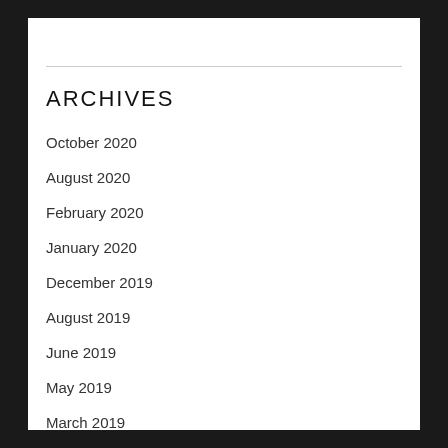ARCHIVES
October 2020
August 2020
February 2020
January 2020
December 2019
August 2019
June 2019
May 2019
March 2019